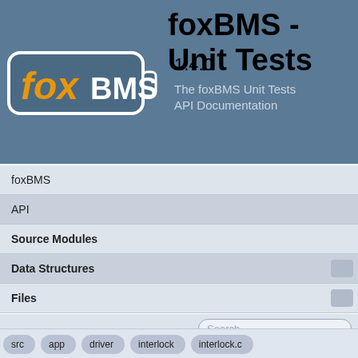foxBMS - Unit Tests
[Figure (logo): foxBMS logo: battery shape outline in white with 'fox' in orange italic and 'BMS' in white bold text on dark blue-grey background]
1.4.0
The foxBMS Unit Tests API Documentation
foxBMS
API
Source Modules
Data Structures
Files
Search
Macros M
src  app  driver  interlock  interlock.c